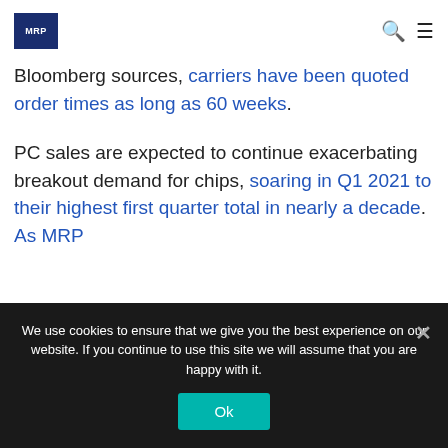MRP [logo] [search icon] [menu icon]
Bloomberg sources, carriers have been quoted order times as long as 60 weeks.
PC sales are expected to continue exacerbating breakout demand for chips, soaring in Q1 2021 to their highest first quarter total in nearly a decade.
As MRP...
We use cookies to ensure that we give you the best experience on our website. If you continue to use this site we will assume that you are happy with it.